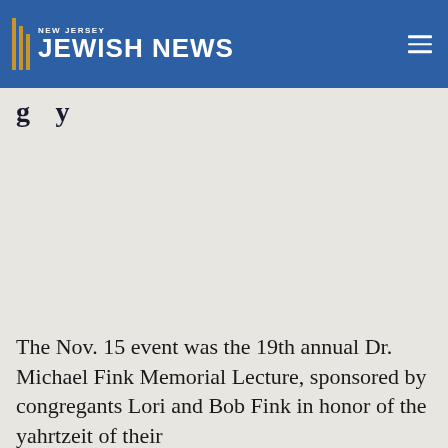NEW JERSEY JEWISH NEWS
g y
The Nov. 15 event was the 19th annual Dr. Michael Fink Memorial Lecture, sponsored by congregants Lori and Bob Fink in honor of the yahrtzeit of their